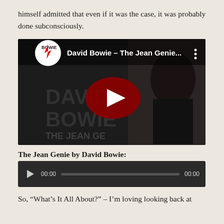himself admitted that even if it was the case, it was probably done subconsciously.
[Figure (screenshot): YouTube video thumbnail for 'David Bowie – The Jean Genie...' showing David Bowie in dark clothing with the YouTube play button overlay and the Bowie logo in top left corner.]
The Jean Genie by David Bowie:
[Figure (screenshot): Audio player widget with dark background showing play button, time code 00:00, progress bar, and end time 00:00.]
So, "What's It All About?" – I'm loving looking back at